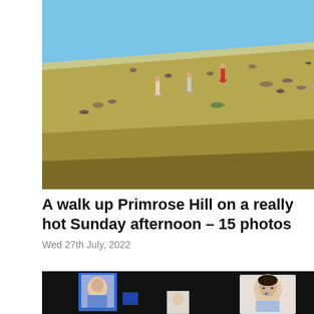[Figure (photo): People sitting and walking on a dry grassy hill (Primrose Hill) on a hot sunny day, blue sky visible at the top]
A walk up Primrose Hill on a really hot Sunday afternoon – 15 photos
Wed 27th July, 2022
[Figure (photo): Dark background with framed portrait photographs of faces displayed on stands, one illuminated on the left side and one on the right]